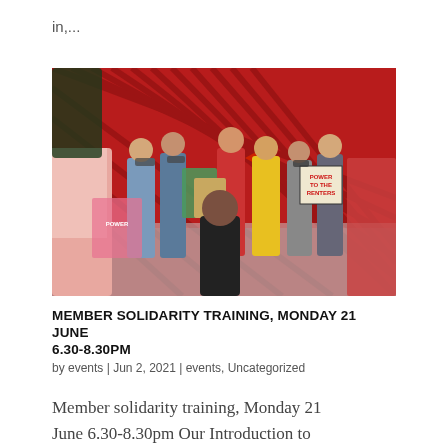in,...
[Figure (photo): Outdoor protest scene with people wearing masks, holding signs including one reading 'Power to the Renters', with a red corrugated background and one person speaking through a megaphone.]
MEMBER SOLIDARITY TRAINING, MONDAY 21 JUNE 6.30-8.30PM
by events | Jun 2, 2021 | events, Uncategorized
Member solidarity training, Monday 21 June 6.30-8.30pm Our Introduction to